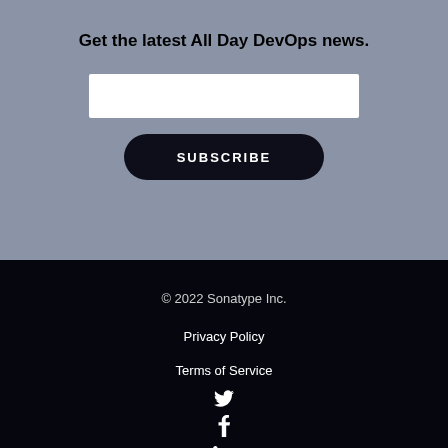Get the latest All Day DevOps news.
[Figure (screenshot): Email input text field (white rectangle)]
SUBSCRIBE
© 2022 Sonatype Inc.
Privacy Policy
Terms of Service
[Figure (illustration): Social media icons: Twitter, Facebook, LinkedIn, settings/gear icon]